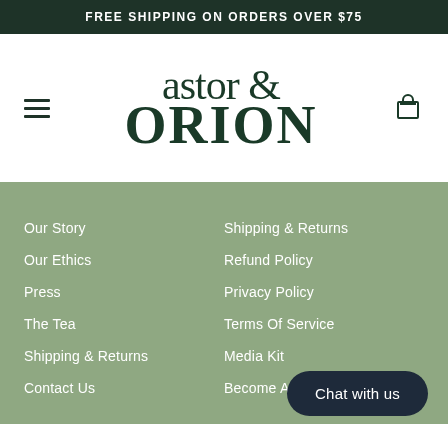FREE SHIPPING ON ORDERS OVER $75
[Figure (logo): Astor & Orion brand logo in dark green serif font on white background, with hamburger menu icon on left and shopping bag icon on right]
Our Story
Our Ethics
Press
The Tea
Shipping & Returns
Contact Us
Shipping & Returns
Refund Policy
Privacy Policy
Terms Of Service
Media Kit
Become A...